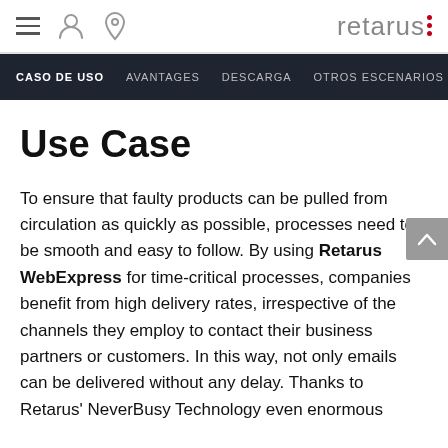retarus [logo with red dots] | hamburger menu | user icon | location icon
CASO DE USO  AVANTAGES  DESCARGA  OTROS ESCENARIOS  C
Use Case
To ensure that faulty products can be pulled from circulation as quickly as possible, processes need to be smooth and easy to follow. By using Retarus WebExpress for time-critical processes, companies benefit from high delivery rates, irrespective of the channels they employ to contact their business partners or customers. In this way, not only emails can be delivered without any delay. Thanks to Retarus' NeverBusy Technology even enormous